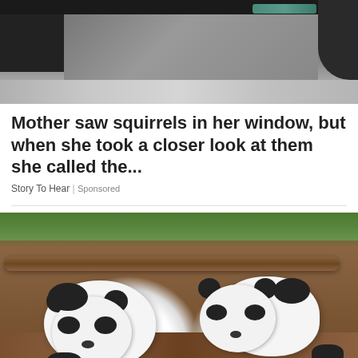[Figure (photo): Top portion of a photo showing squirrels in a window, mostly cropped, showing dark window frame and ledge area]
Mother saw squirrels in her window, but when she took a closer look at them she called the...
Story To Hear | Sponsored
[Figure (photo): Two baby giant panda cubs lying on wooden planks with logs and greenery in background]
Tokyo's Ueno Zoo debuts twin panda cubs to